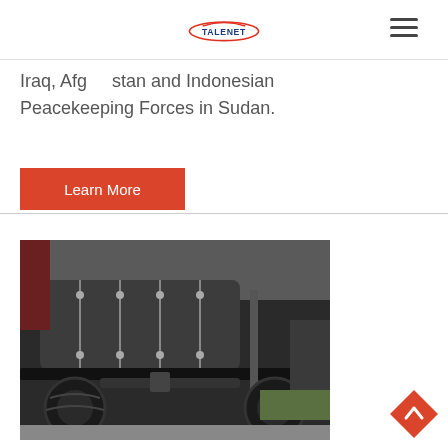TALENET
Iraq, Afghanistan and Indonesian Peacekeeping Forces in Sudan.
Learn More
[Figure (photo): Underside view of a military vehicle showing chassis, suspension, wheels and undercarriage components from a low angle perspective.]